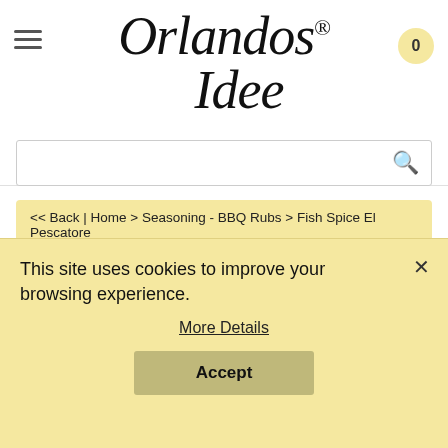Orlandos® Idee
<< Back | Home > Seasoning - BBQ Rubs > Fish Spice El Pescatore
This site uses cookies to improve your browsing experience.
More Details
Accept